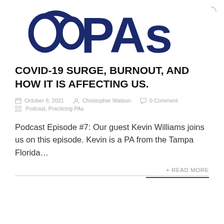[Figure (logo): Practicing PAs logo — large dark navy text 'PAs' with stylized stethoscope forming letters, partial crop showing top portion]
COVID-19 SURGE, BURNOUT, AND HOW IT IS AFFECTING US.
October 8, 2021   Christopher Watson   0 Comment   Podcast, Practicing PAs
Podcast Episode #7: Our guest Kevin Williams joins us on this episode. Kevin is a PA from the Tampa Florida...
+ READ MORE